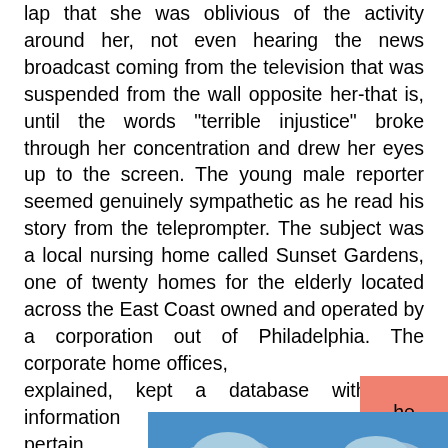lap that she was oblivious of the activity around her, not even hearing the news broadcast coming from the television that was suspended from the wall opposite her-that is, until the words "terrible injustice" broke through her concentration and drew her eyes up to the screen. The young male reporter seemed genuinely sympathetic as he read his story from the teleprompter. The subject was a local nursing home called Sunset Gardens, one of twenty homes for the elderly located across the East Coast owned and operated by a corporation out of Philadelphia. The corporate home offices, he explained, kept a database with vital information pertaining to... They